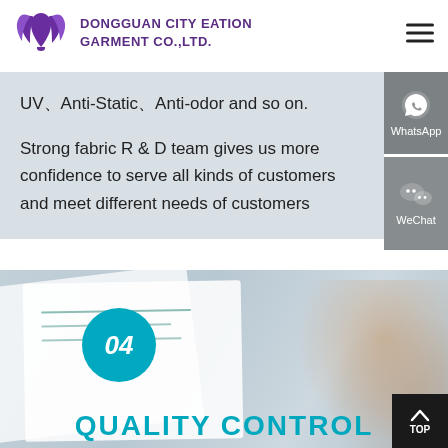DONGGUAN CITY EATION GARMENT CO.,LTD.
UV、Anti-Static、Anti-odor and so on.
Strong fabric R & D team gives us more confidence to serve all kinds of customers and meet different needs of customers
[Figure (other): WhatsApp contact button on right sidebar]
[Figure (other): WeChat contact button on right sidebar]
[Figure (photo): Background photo showing documents/inspection papers with hands, teal circle badge with number 04, and partial text QUALITY CONTROL in teal color at bottom]
QUALITY CONTROL